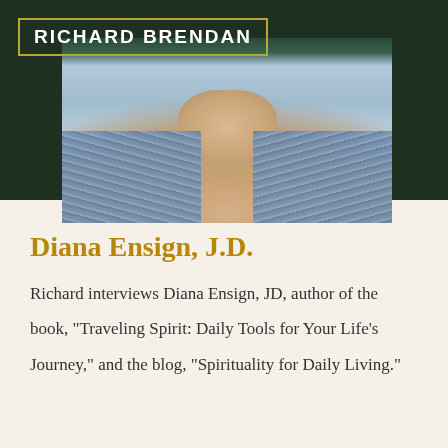RICHARD BRENDAN
[Figure (photo): Close-up photo of a person wearing a blue knit/crochet sweater, showing the neck and upper chest area]
Diana Ensign, J.D.
Richard interviews Diana Ensign, JD, author of the book, "Traveling Spirit: Daily Tools for Your Life's Journey," and the blog, "Spirituality for Daily Living."